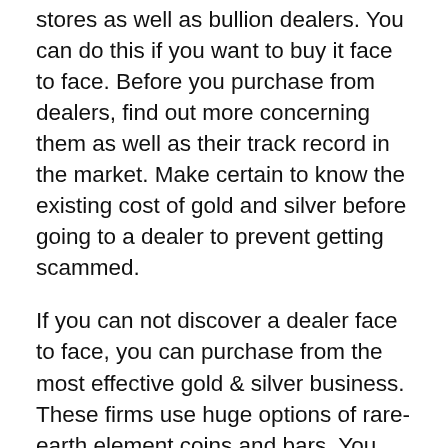stores as well as bullion dealers. You can do this if you want to buy it face to face. Before you purchase from dealers, find out more concerning them as well as their track record in the market. Make certain to know the existing cost of gold and silver before going to a dealer to prevent getting scammed.
If you can not discover a dealer face to face, you can purchase from the most effective gold & silver business. These firms use huge options of rare-earth element coins and bars. You can add them to your Individual Retirement Account or acquire them for personal investment. Make certain to check out evaluations prior to making company with any kind of firm.